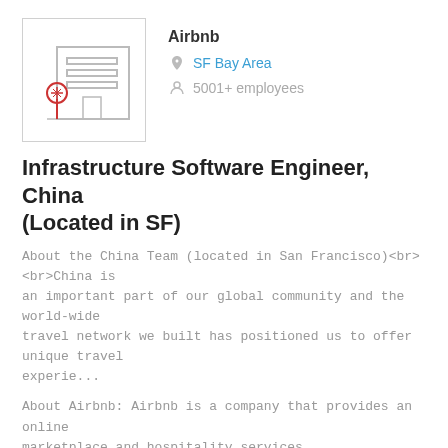[Figure (illustration): Company logo placeholder: office building illustration with a red tree/flower icon, gray building outline with horizontal lines]
Airbnb
SF Bay Area
5001+ employees
Infrastructure Software Engineer, China (Located in SF)
About the China Team (located in San Francisco)<br><br>China is an important part of our global community and the world-wide travel network we built has positioned us to offer unique travel experie...
About Airbnb: Airbnb is a company that provides an online marketplace and hospitality services.
[Figure (illustration): Company logo placeholder: office building illustration with red snowflake/flower icons at the base, gray building outline with windows]
Airbnb
SF Bay Area
5001+ employees